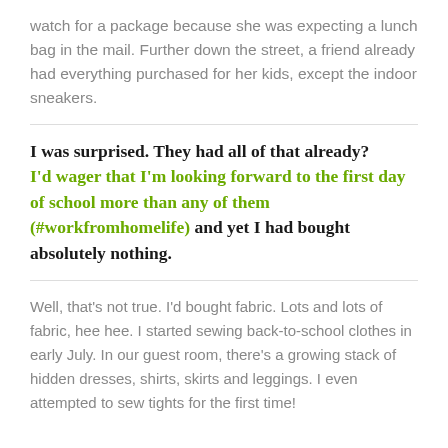watch for a package because she was expecting a lunch bag in the mail. Further down the street, a friend already had everything purchased for her kids, except the indoor sneakers.
I was surprised. They had all of that already? I'd wager that I'm looking forward to the first day of school more than any of them (#workfromhomelife) and yet I had bought absolutely nothing.
Well, that's not true. I'd bought fabric. Lots and lots of fabric, hee hee. I started sewing back-to-school clothes in early July. In our guest room, there's a growing stack of hidden dresses, shirts, skirts and leggings. I even attempted to sew tights for the first time!